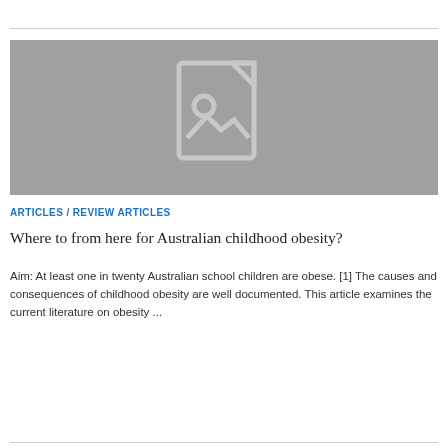[Figure (illustration): Placeholder image with a document/image icon on a grey background]
ARTICLES / REVIEW ARTICLES
Where to from here for Australian childhood obesity?
Aim: At least one in twenty Australian school children are obese. [1] The causes and consequences of childhood obesity are well documented. This article examines the current literature on obesity ...